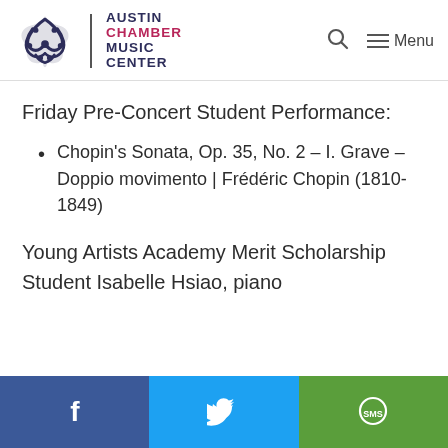Austin Chamber Music Center — Menu
Friday Pre-Concert Student Performance:
Chopin's Sonata, Op. 35, No. 2 – I. Grave – Doppio movimento | Frédéric Chopin (1810-1849)
Young Artists Academy Merit Scholarship Student Isabelle Hsiao, piano
[Figure (infographic): Social share buttons: Facebook (blue), Twitter (cyan), SMS (green)]